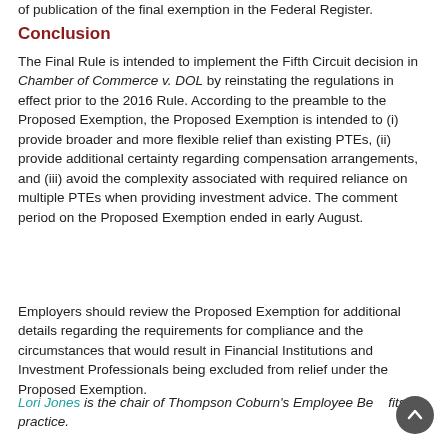of publication of the final exemption in the Federal Register.
Conclusion
The Final Rule is intended to implement the Fifth Circuit decision in Chamber of Commerce v. DOL by reinstating the regulations in effect prior to the 2016 Rule. According to the preamble to the Proposed Exemption, the Proposed Exemption is intended to (i) provide broader and more flexible relief than existing PTEs, (ii) provide additional certainty regarding compensation arrangements, and (iii) avoid the complexity associated with required reliance on multiple PTEs when providing investment advice. The comment period on the Proposed Exemption ended in early August.
Employers should review the Proposed Exemption for additional details regarding the requirements for compliance and the circumstances that would result in Financial Institutions and Investment Professionals being excluded from relief under the Proposed Exemption.
Lori Jones is the chair of Thompson Coburn's Employee Benefits practice.